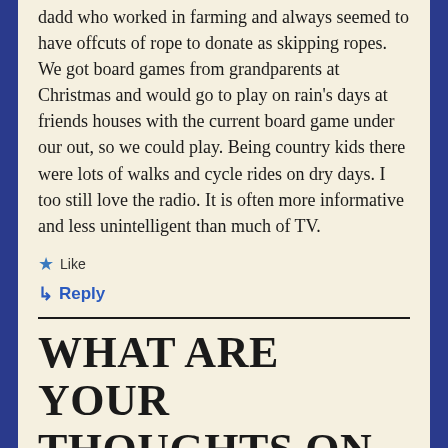dadd who worked in farming and always seemed to have offcuts of rope to donate as skipping ropes. We got board games from grandparents at Christmas and would go to play on rain's days at friends houses with the current board game under our out, so we could play. Being country kids there were lots of walks and cycle rides on dry days. I too still love the radio. It is often more informative and less unintelligent than much of TV.
★ Like
↳ Reply
WHAT ARE YOUR THOUGHTS ON THIS?